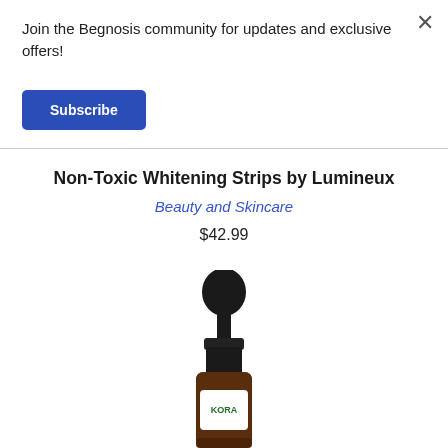Join the Begnosis community for updates and exclusive offers!
Subscribe
Non-Toxic Whitening Strips by Lumineux
Beauty and Skincare
$42.99
[Figure (photo): Amber glass dropper bottle with black dropper cap, partially visible label with text starting with letters resembling 'KORA']